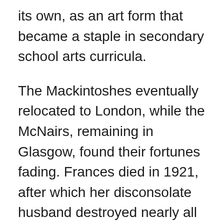its own, as an art form that became a staple in secondary school arts curricula.
The Mackintoshes eventually relocated to London, while the McNairs, remaining in Glasgow, found their fortunes fading. Frances died in 1921, after which her disconsolate husband destroyed nearly all of her work. Charles and Margaret kept their body of work in trust, and it remains curated by various art galleries in Glasgow and in London.
Those of us who have the fortune to visit the Albuquerque Museum, until January 22, are